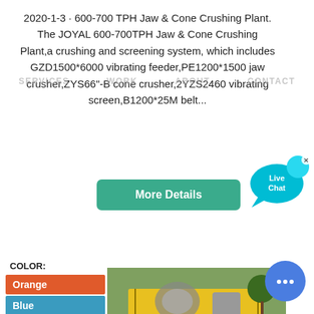2020-1-3 · 600-700 TPH Jaw & Cone Crushing Plant. The JOYAL 600-700TPH Jaw & Cone Crushing Plant,a crushing and screening system, which includes GZD1500*6000 vibrating feeder,PE1200*1500 jaw crusher,ZYS66"-B cone crusher,2YZS2460 vibrating screen,B1200*25M belt...
SERVICES  WORK  ABOUT  CONTACT
More Details
COLOR:
Orange
Blue
Yellow
[Figure (photo): Yellow industrial jaw and cone crushing plant machinery with workers on-site, trees visible in background.]